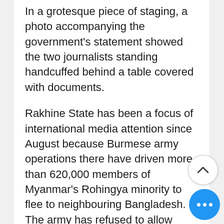In a grotesque piece of staging, a photo accompanying the government's statement showed the two journalists standing handcuffed behind a table covered with documents.
Rakhine State has been a focus of international media attention since August because Burmese army operations there have driven more than 620,000 members of Myanmar's Rohingya minority to flee to neighbouring Bangladesh. The army has refused to allow journalists into the troubled region, where its operations may have involved "elements of genocide," the United Nations said 5 December.